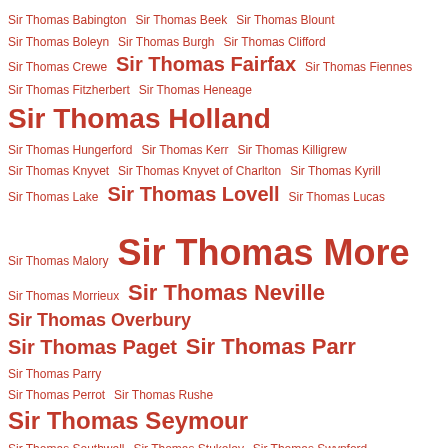Sir Thomas Babington Sir Thomas Beek Sir Thomas Blount Sir Thomas Boleyn Sir Thomas Burgh Sir Thomas Clifford Sir Thomas Crewe Sir Thomas Fairfax Sir Thomas Fiennes Sir Thomas Fitzherbert Sir Thomas Heneage Sir Thomas Holland Sir Thomas Hungerford Sir Thomas Kerr Sir Thomas Killigrew Sir Thomas Knyvet Sir Thomas Knyvet of Charlton Sir Thomas Kyrill Sir Thomas Lake Sir Thomas Lovell Sir Thomas Lucas Sir Thomas Malory Sir Thomas More Sir Thomas Morrieux Sir Thomas Neville Sir Thomas Overbury Sir Thomas Paget Sir Thomas Parr Sir Thomas Parry Sir Thomas Perrot Sir Thomas Rushe Sir Thomas Seymour Sir Thomas Southwell Sir Thomas Stukeley Sir Thomas Swynford Sir Thomas Wentworth Sir Thomas Wharton Sir Thomas Wriothesley Sir Thomas Wyatt Sir Urien Brereton Sir Walter de Selby Sir Walter Devereux Sir Walter Hungerford Sir Walter Hungerford of Farleigh Sir Walter Raleigh Sir Walter Scott Sir Walter Urswick Sir William Babington of Childwell Sir William Brereton